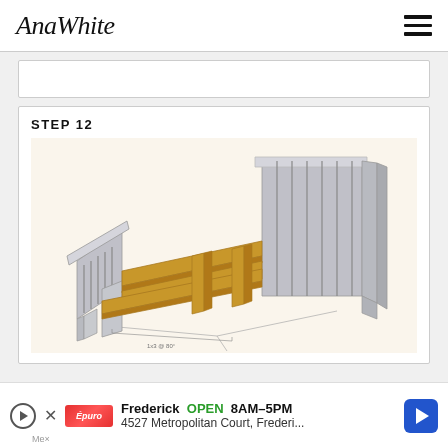AnaWhite
[Figure (schematic): Empty white box placeholder, partially visible at top of page]
STEP 12
[Figure (engineering-diagram): 3D isometric SketchUp-style diagram of a bed frame showing wooden side rails, support slats, and headboard/footboard panels in grey. A dimension annotation reads '1x3 @ 80' at the bottom.]
Frederick OPEN 8AM–5PM 4527 Metropolitan Court, Frederi...